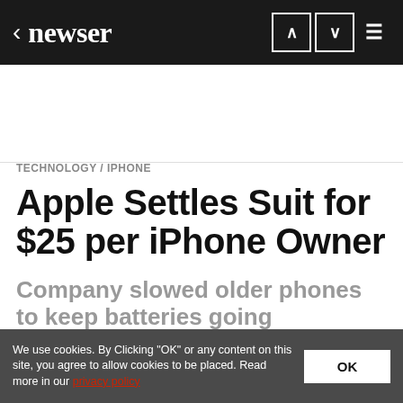newser
TECHNOLOGY / IPHONE
Apple Settles Suit for $25 per iPhone Owner
Company slowed older phones to keep batteries going
By Newser Editors and Wire Services
Posted Mar 2, 2020 4:26 PM CST
We use cookies. By Clicking "OK" or any content on this site, you agree to allow cookies to be placed. Read more in our privacy policy.